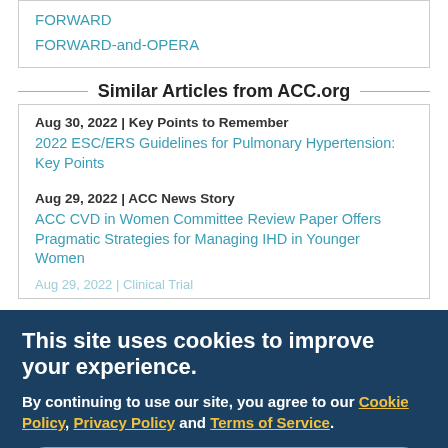FORWARD
FORWARD-and-OPERA
Similar Articles from ACC.org
Aug 30, 2022 | Key Points to Remember
2022 ESC/ERS Guidelines for Pulmonary Hypertension: Key Points
Aug 29, 2022 | ACC News Story
ACC CVD in Women Committee Review Paper Offers Pragmatic Strategies for Managing IHD in Younger Women
Aug 29, 2022 | Clinical Trial
Aug 29, 2022 | Clinical Trial
This site uses cookies to improve your experience.
By continuing to use our site, you agree to our Cookie Policy, Privacy Policy and Terms of Service.
OK